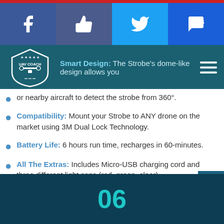[Figure (other): Social sharing bar with Facebook, Like, Twitter, and SMS buttons]
[Figure (logo): UAV Coach logo with drone shield emblem on teal navigation bar with hamburger menu]
Smart Design: The Strobe’s dome-like design allows you or nearby aircraft to detect the strobe from 360°.
Compatibility: Mount your Strobe to ANY drone on the market using 3M Dual Lock Technology.
Battery Life: 6 hours run time, recharges in 60-minutes.
All The Extras: Includes Micro-USB charging cord and three different light caps (red, green, clear).
06